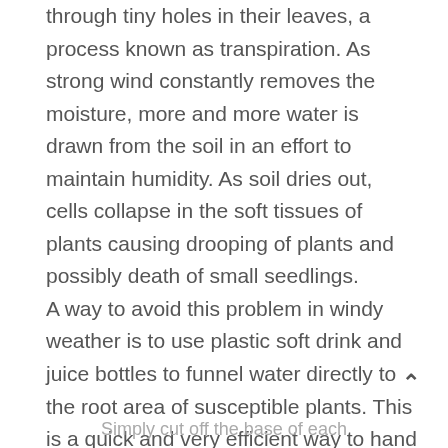through tiny holes in their leaves, a process known as transpiration. As strong wind constantly removes the moisture, more and more water is drawn from the soil in an effort to maintain humidity. As soil dries out, cells collapse in the soft tissues of plants causing drooping of plants and possibly death of small seedlings. A way to avoid this problem in windy weather is to use plastic soft drink and juice bottles to funnel water directly to the root area of susceptible plants. This is a quick and very efficient way to hand water during water restrictions or windy weather. Limp tomato seedlings will freshen up in about 10 minutes after watering by this method.
Simply cut off the base of each